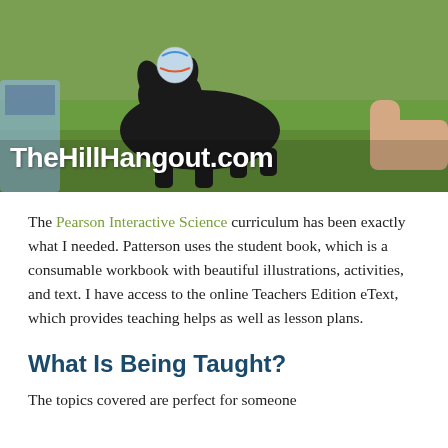[Figure (photo): Photo of a black dog playing with a colorful ball on green grass, with a person's hand visible. Text overlay reads 'TheHillHangout.com' in large white bold letters.]
The Pearson Interactive Science curriculum has been exactly what I needed. Patterson uses the student book, which is a consumable workbook with beautiful illustrations, activities, and text. I have access to the online Teachers Edition eText, which provides teaching helps as well as lesson plans.
What Is Being Taught?
The topics covered are perfect for someone